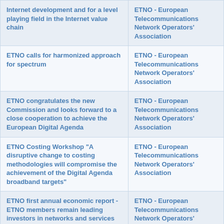| Title | Organization |
| --- | --- |
| Internet development and for a level playing field in the Internet value chain | ETNO - European Telecommunications Network Operators' Association |
| ETNO calls for harmonized approach for spectrum | ETNO - European Telecommunications Network Operators' Association |
| ETNO congratulates the new Commission and looks forward to a close cooperation to achieve the European Digital Agenda | ETNO - European Telecommunications Network Operators' Association |
| ETNO Costing Workshop "A disruptive change to costing methodologies will compromise the achievement of the Digital Agenda broadband targets" | ETNO - European Telecommunications Network Operators' Association |
| ETNO first annual economic report - ETNO members remain leading investors in networks and services despite economic downturn | ETNO - European Telecommunications Network Operators' Association |
| ETNO GSMA joint statement : New Hungarian Telecoms Tax Will Harm Economic Recovery | ETNO - European Telecommunications Network Operators' |